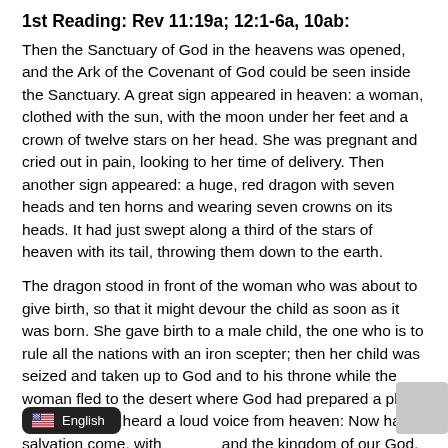1st Reading: Rev 11:19a; 12:1-6a, 10ab:
Then the Sanctuary of God in the heavens was opened, and the Ark of the Covenant of God could be seen inside the Sanctuary. A great sign appeared in heaven: a woman, clothed with the sun, with the moon under her feet and a crown of twelve stars on her head. She was pregnant and cried out in pain, looking to her time of delivery. Then another sign appeared: a huge, red dragon with seven heads and ten horns and wearing seven crowns on its heads. It had just swept along a third of the stars of heaven with its tail, throwing them down to the earth.
The dragon stood in front of the woman who was about to give birth, so that it might devour the child as soon as it was born. She gave birth to a male child, the one who is to rule all the nations with an iron scepter; then her child was seized and taken up to God and to his throne while the woman fled to the desert where God had prepared a place for her. Then I heard a loud voice from heaven: Now has salvation come, with and the kingdom of our God, and the rule of